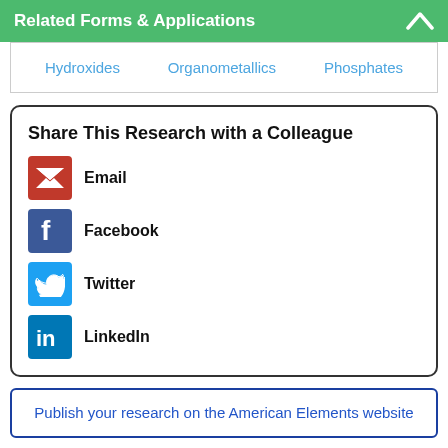Related Forms & Applications
Hydroxides   Organometallics   Phosphates
Share This Research with a Colleague
Email
Facebook
Twitter
LinkedIn
Publish your research on the American Elements website